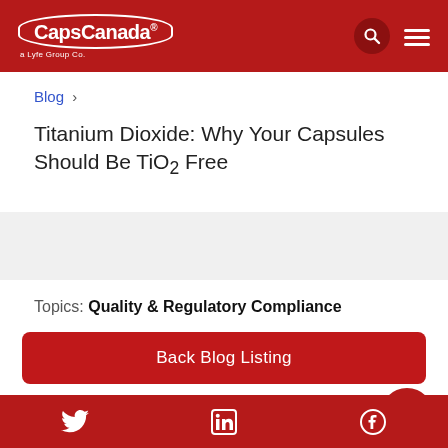CapsCanada® a Lyfe Group Co.
Blog ›
Titanium Dioxide: Why Your Capsules Should Be TiO2 Free
Topics: Quality & Regulatory Compliance
Back Blog Listing
Twitter LinkedIn Facebook